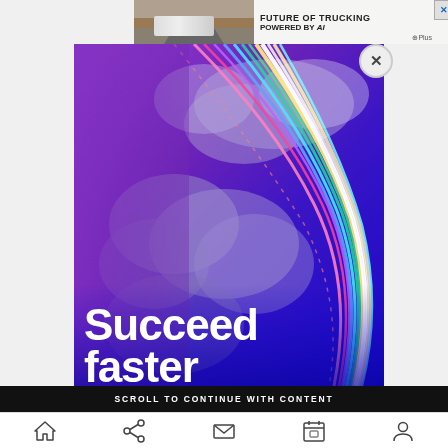[Figure (screenshot): Ad banner: truck on desert road with text FUTURE OF TRUCKING POWERED BY AI and plus logo, with blue X close button]
[Figure (illustration): Advertisement image with purple/blue gradient background, clouds, colorful light trails forming an S-curve, and large white bold text reading 'Succeed faster']
SCROLL TO CONTINUE WITH CONTENT
[Figure (screenshot): Mobile browser bottom navigation bar with home, share, email, calendar, and profile icons]